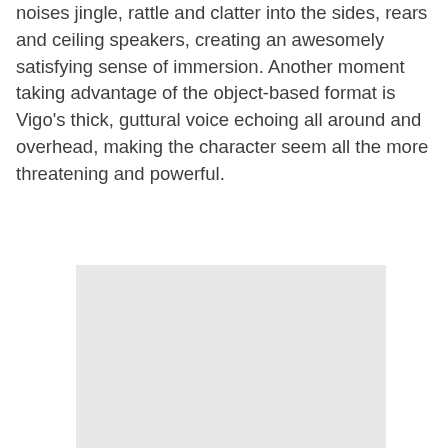noises jingle, rattle and clatter into the sides, rears and ceiling speakers, creating an awesomely satisfying sense of immersion. Another moment taking advantage of the object-based format is Vigo's thick, guttural voice echoing all around and overhead, making the character seem all the more threatening and powerful.
[Figure (photo): A light gray rectangular placeholder image]